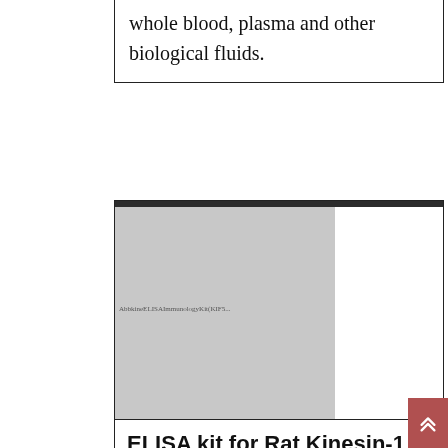whole blood, plasma and other biological fluids.
[Figure (photo): Gray placeholder image for ELISA kit product, with small watermark text]
ELISA kit for Rat Kinesin-1 heavy chain (KIF5B)
| Catalog | Brand | Size | Price |
| --- | --- | --- | --- |
| KTE100726-96T | Abbkine | 96T | EUR 539 |